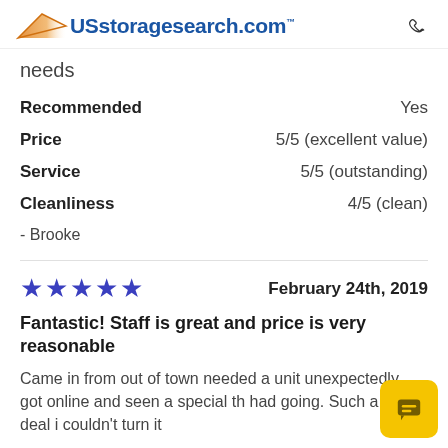USstoragesearch.com
needs
Recommended    Yes
Price    5/5 (excellent value)
Service    5/5 (outstanding)
Cleanliness    4/5 (clean)
- Brooke
★★★★★    February 24th, 2019
Fantastic! Staff is great and price is very reasonable
Came in from out of town needed a unit unexpectedly, got online and seen a special th had going. Such a good deal i couldn't turn it